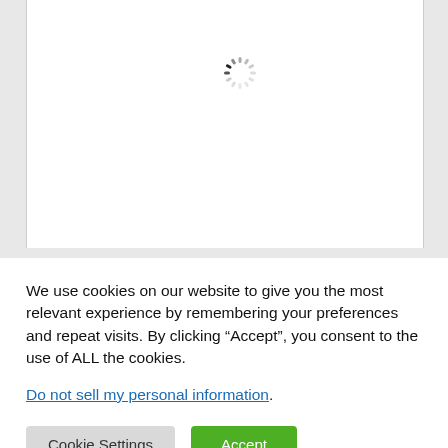[Figure (screenshot): White content area with a loading spinner (circular dashed spinner) centered in the upper portion of the page]
We use cookies on our website to give you the most relevant experience by remembering your preferences and repeat visits. By clicking “Accept”, you consent to the use of ALL the cookies.
Do not sell my personal information.
Cookie Settings
Accept